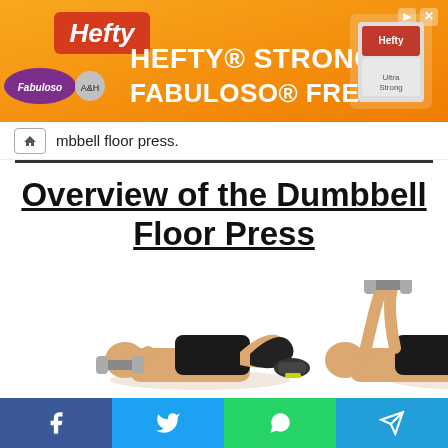[Figure (photo): Orange Hefty advertisement banner reading 'Hefty Strong, Fabuloso Fresh' with Fabuloso and Arm & Hammer logos and Hefty product image on the right]
mbbell floor press.
Overview of the Dumbbell Floor Press
[Figure (photo): Two-panel exercise photo showing a man performing the dumbbell floor press: left panel shows starting position lying on floor with dumbbells at chest level, right panel shows extended arms pressing dumbbells overhead while lying on floor with knees bent]
[Figure (other): Social share bar with Facebook, Twitter, WhatsApp, and Telegram icons]